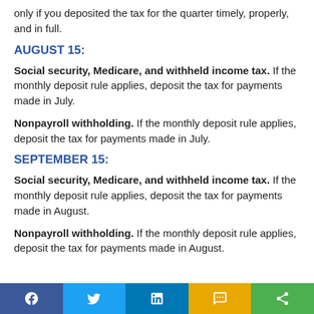only if you deposited the tax for the quarter timely, properly, and in full.
AUGUST 15:
Social security, Medicare, and withheld income tax. If the monthly deposit rule applies, deposit the tax for payments made in July.
Nonpayroll withholding. If the monthly deposit rule applies, deposit the tax for payments made in July.
SEPTEMBER 15:
Social security, Medicare, and withheld income tax. If the monthly deposit rule applies, deposit the tax for payments made in August.
Nonpayroll withholding. If the monthly deposit rule applies, deposit the tax for payments made in August.
Social share bar: Facebook, Twitter, LinkedIn, SMS, Share